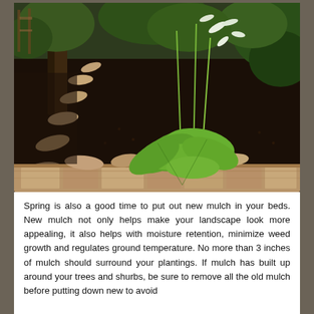[Figure (photo): Garden bed with dark mulch, a hosta plant with tall flower stalks and white blooms, surrounded by flat stone stepping stones along a path, with trees and green shrubs in the background.]
Spring is also a good time to put out new mulch in your beds. New mulch not only helps make your landscape look more appealing, it also helps with moisture retention, minimize weed growth and regulates ground temperature. No more than 3 inches of mulch should surround your plantings. If mulch has built up around your trees and shurbs, be sure to remove all the old mulch before putting down new to avoid